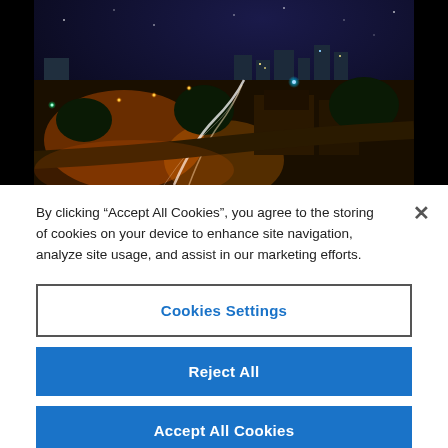[Figure (photo): Aerial nighttime cityscape showing streets with light trails from vehicles, buildings, trees, and city lights with a dark blue sky]
By clicking “Accept All Cookies”, you agree to the storing of cookies on your device to enhance site navigation, analyze site usage, and assist in our marketing efforts.
Cookies Settings
Reject All
Accept All Cookies